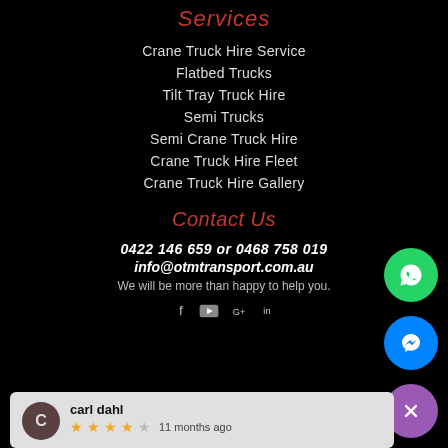Services
Crane Truck Hire Service
Flatbed Trucks
Tilt Tray Truck Hire
Semi Trucks
Semi Crane Truck Hire
Crane Truck Hire Fleet
Crane Truck Hire Gallery
Contact Us
0422 146 659 or 0468 758 019
info@otmtransport.com.au
We will be more than happy to help you.
[Figure (infographic): Social media icons: Facebook, YouTube, Google+, LinkedIn]
[Figure (infographic): WhatsApp floating button (green circle with phone icon)]
[Figure (infographic): Facebook Messenger floating button (blue circle with lightning bolt icon)]
[Figure (infographic): Close/dismiss button (purple circle with X icon)]
carl dahl  11 months ago  ★★★★☆